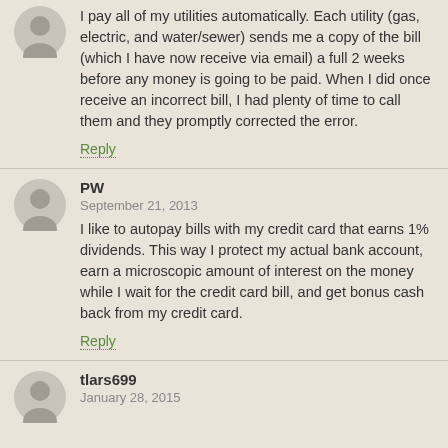I pay all of my utilities automatically. Each utility (gas, electric, and water/sewer) sends me a copy of the bill (which I have now receive via email) a full 2 weeks before any money is going to be paid. When I did once receive an incorrect bill, I had plenty of time to call them and they promptly corrected the error.
Reply
PW
September 21, 2013
I like to autopay bills with my credit card that earns 1% dividends. This way I protect my actual bank account, earn a microscopic amount of interest on the money while I wait for the credit card bill, and get bonus cash back from my credit card.
Reply
tlars699
January 28, 2015